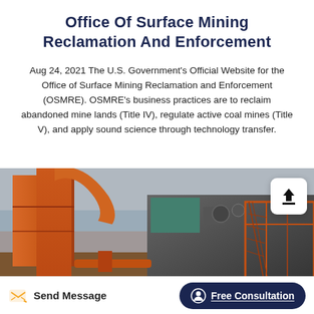Office Of Surface Mining Reclamation And Enforcement
Aug 24, 2021 The U.S. Government's Official Website for the Office of Surface Mining Reclamation and Enforcement (OSMRE). OSMRE's business practices are to reclaim abandoned mine lands (Title IV), regulate active coal mines (Title V), and apply sound science through technology transfer.
[Figure (photo): Industrial mining equipment showing large orange dust collectors, silos, pipes and conveyor machinery at a surface mine facility.]
Send Message
Free Consultation